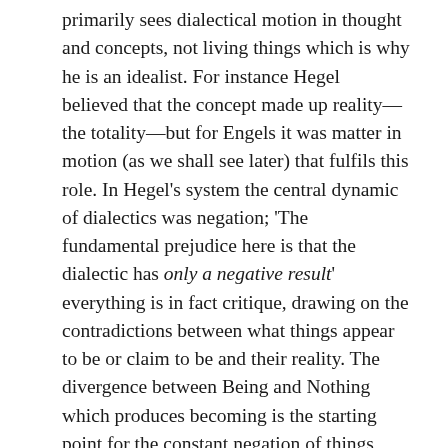primarily sees dialectical motion in thought and concepts, not living things which is why he is an idealist. For instance Hegel believed that the concept made up reality—the totality—but for Engels it was matter in motion (as we shall see later) that fulfils this role. In Hegel's system the central dynamic of dialectics was negation; 'The fundamental prejudice here is that the dialectic has only a negative result' everything is in fact critique, drawing on the contradictions between what things appear to be or claim to be and their reality. The divergence between Being and Nothing which produces becoming is the starting point for the constant negation of things within themselves. The unity of identity and non-identity is the driving force of ideas and concepts and produces constant change. The drive of thought which yields positive results from the negation 'produces the universal and seizes the particular in it'. It is this dynamic